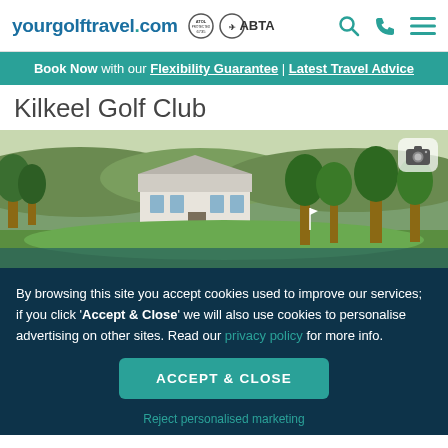yourgolftravel.com — ABTA — Search — Phone — Menu
Book Now with our Flexibility Guarantee | Latest Travel Advice
Kilkeel Golf Club
[Figure (photo): Aerial/landscape photo of Kilkeel Golf Club showing a white clubhouse building surrounded by lush green fairways and trees with hills in the background. A camera icon is visible in the top right.]
By browsing this site you accept cookies used to improve our services; if you click 'Accept & Close' we will also use cookies to personalise advertising on other sites. Read our privacy policy for more info.
ACCEPT & CLOSE
Reject personalised marketing